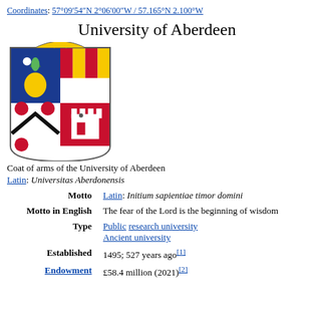Coordinates: 57°09′54″N 2°06′00″W / 57.165°N 2.100°W
University of Aberdeen
[Figure (illustration): Coat of arms of the University of Aberdeen — quartered shield with blue field and golden vase/sheaf, gold and red vertical stripes, white field with black chevron and red lions, and red field with white castle]
Coat of arms of the University of Aberdeen
Latin: Universitas Aberdonensis
|  |  |
| --- | --- |
| Motto | Latin: Initium sapientiae timor domini |
| Motto in English | The fear of the Lord is the beginning of wisdom |
| Type | Public research university
Ancient university |
| Established | 1495; 527 years ago[1] |
| Endowment | £58.4 million (2021)[2] |